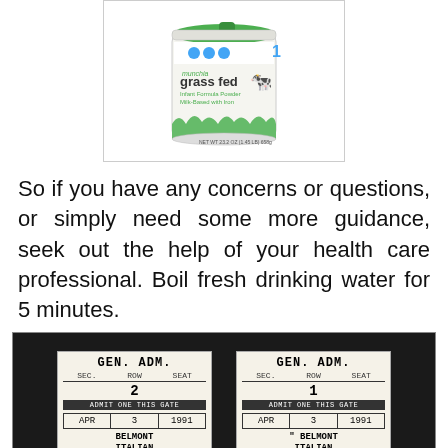[Figure (photo): A can of Munchkin Grass Fed infant formula powder (milk-based with iron), Stage 1, with green cap and white body.]
So if you have any concerns or questions, or simply need some more guidance, seek out the help of your health care professional. Boil fresh drinking water for 5 minutes.
[Figure (photo): Two old paper tickets for an event on APR 3 1991 at Belmont Italian American [venue]. Both are GEN. ADM. tickets. Left ticket shows seat 2, right ticket shows seat 1. Both say ADMIT ONE THIS GATE.]